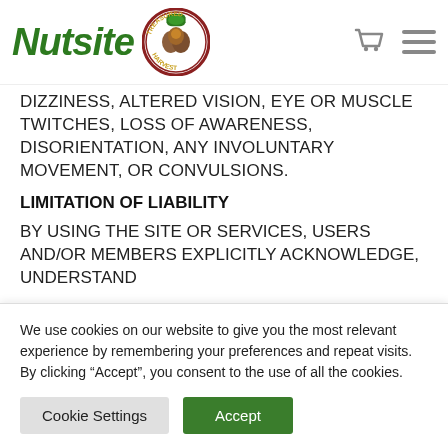[Figure (logo): Nutsite logo with green italic bold text and Treasured Harvest circular badge logo]
DIZZINESS, ALTERED VISION, EYE OR MUSCLE TWITCHES, LOSS OF AWARENESS, DISORIENTATION, ANY INVOLUNTARY MOVEMENT, OR CONVULSIONS.
LIMITATION OF LIABILITY
BY USING THE SITE OR SERVICES, USERS AND/OR MEMBERS EXPLICITLY ACKNOWLEDGE, UNDERSTAND
We use cookies on our website to give you the most relevant experience by remembering your preferences and repeat visits. By clicking “Accept”, you consent to the use of all the cookies.